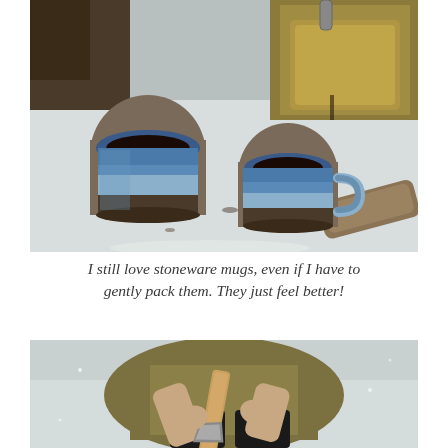[Figure (photo): Two blue stoneware mugs filled with dark coffee sitting on snow, with a brass/gold metal camping pot being poured in the background. Firewood visible on the right.]
I still love stoneware mugs, even if I have to gently pack them. They just feel better!
[Figure (photo): Overhead/top-down view of a person in olive/brown jacket and black pants sitting in snow, holding a wooden-handled axe or hatchet, splitting wood.]